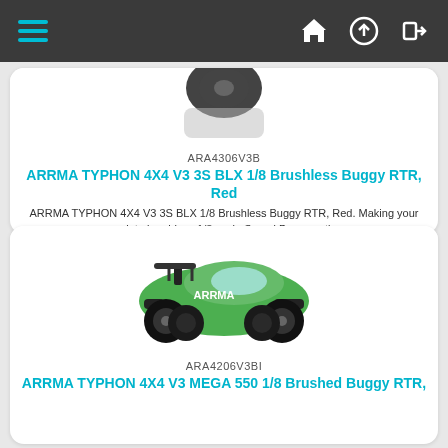Navigation bar with hamburger menu and icons
[Figure (photo): Partial view of RC buggy car from above, showing a wheel/tire]
ARA4306V3B
ARRMA TYPHON 4X4 V3 3S BLX 1/8 Brushless Buggy RTR, Red
ARRMA TYPHON 4X4 V3 3S BLX 1/8 Brushless Buggy RTR, Red. Making your move into brushless 1/8 scale Speed Buggy action...
419.00€
ΑΓΟΡΑ
[Figure (photo): Green and black ARRMA RC buggy car facing right]
ARA4206V3BI
ARRMA TYPHON 4X4 V3 MEGA 550 1/8 Brushed Buggy RTR,